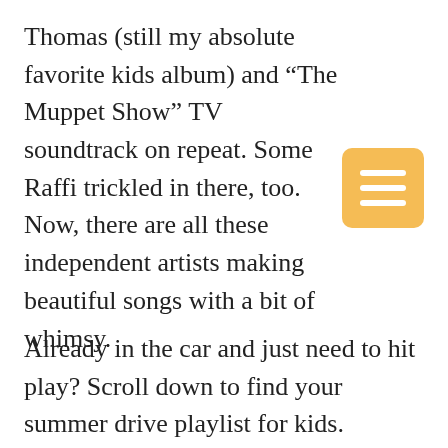Thomas (still my absolute favorite kids album) and “The Muppet Show” TV soundtrack on repeat. Some Raffi trickled in there, too. Now, there are all these independent artists making beautiful songs with a bit of whimsy.
[Figure (other): Orange/yellow rounded square icon with three horizontal white lines (hamburger/menu icon)]
Already in the car and just need to hit play? Scroll down to find your summer drive playlist for kids.
Before I reveal these chart-toppers, let’s take a short moment to discuss what happened to the music world. On one hand, things are better for